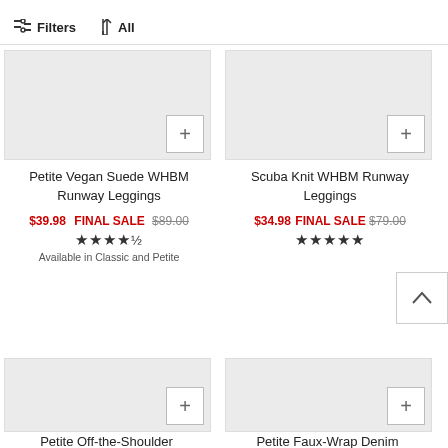Filters  All
[Figure (screenshot): Partial product image for Petite Vegan Suede WHBM Runway Leggings (top cropped)]
[Figure (screenshot): Partial product image for Scuba Knit WHBM Runway Leggings (top cropped)]
Petite Vegan Suede WHBM Runway Leggings
$39.98 FINAL SALE $89.00 ★★★★½ Available in Classic and Petite
Scuba Knit WHBM Runway Leggings
$34.98 FINAL SALE $79.00 ★★★★★
[Figure (screenshot): Partial product image for Petite Off-the-Shoulder item (bottom cropped)]
[Figure (screenshot): Partial product image for Petite Faux-Wrap Denim item (bottom cropped)]
Petite Off-the-Shoulder
Petite Faux-Wrap Denim